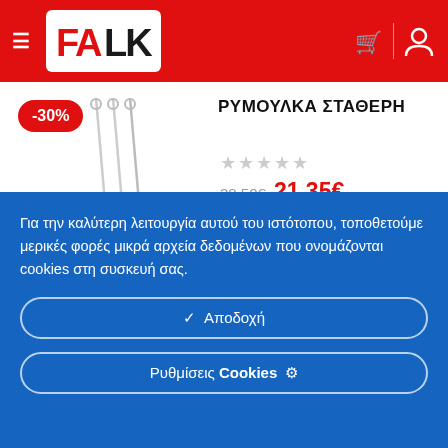FAK LK store header with hamburger menu, logo, cart and user icons
-30%
ΡΥΜΟΥΛΚΑ ΣΤΑΘΕΡΗ
[Figure (photo): Product image: tow bar / fixed tow rope with red handles on a white background]
30,50€  21,35€
Για την καλύτερη λειτουργία αυτού του ιστότοπου, τοποθετούμε μερικές φορές μικρά αρχεία δεδομένων που ονομάζονται cookies στη συσκευή σας.
✓  Αποδοχή
Ρυθμίσεις Cookies ⚙